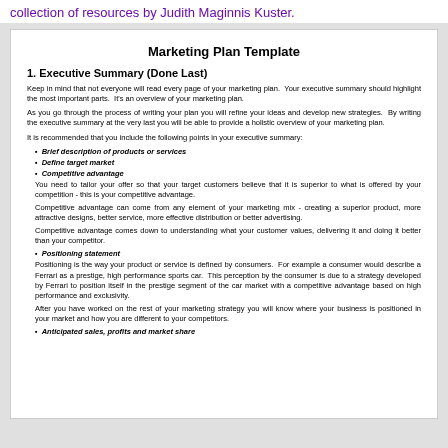collection of resources by Judith Maginnis Kuster.
Marketing Plan Template
1. Executive Summary (Done Last)
Keep in mind that not everyone will read every page of your marketing plan. Your executive summary should highlight the most important parts. It's an overview of your marketing plan.
As you go through the process of writing your plan you will refine your ideas and develop new strategies. By writing the executive summary at the very last you will be able to provide a holistic overview of your marketing plan.
It is recommended that you include the following points in your executive summary:
Brief description of products or services
Define target market
Competitive advantage
You need to tailor your offer so that your target customers believe that it is superior to what is offered by your competition - this is your competitive advantage.
Competitive advantage can come from any element of your marketing mix - creating a superior product, more attractive designs, better service, more effective distribution or better advertising.
Competitive advantage comes down to understanding what your customer values, delivering it and doing it better than your competitor.
Positioning statement
Positioning is the way your product or service is defined by consumers. For example a consumer would describe a Ferrari as a prestige, high performance sports car. This perception by the consumer is due to a strategy developed by Ferrari to position itself in the prestige segment of the car market with a competitive advantage based on high performance and exclusivity.
After you have worked on the rest of your marketing strategy you will know where your business is positioned in your market and how you are different to your competitors.
Anticipated sales, profits and market share